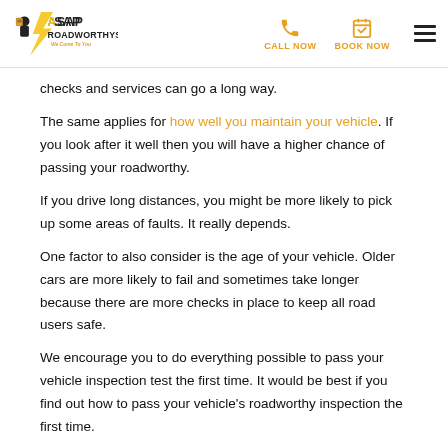ASAP Roadworthys — We Come To You | CALL NOW | BOOK NOW
checks and services can go a long way.
The same applies for how well you maintain your vehicle. If you look after it well then you will have a higher chance of passing your roadworthy.
If you drive long distances, you might be more likely to pick up some areas of faults. It really depends.
One factor to also consider is the age of your vehicle. Older cars are more likely to fail and sometimes take longer because there are more checks in place to keep all road users safe.
We encourage you to do everything possible to pass your vehicle inspection test the first time. It would be best if you find out how to pass your vehicle's roadworthy inspection the first time.